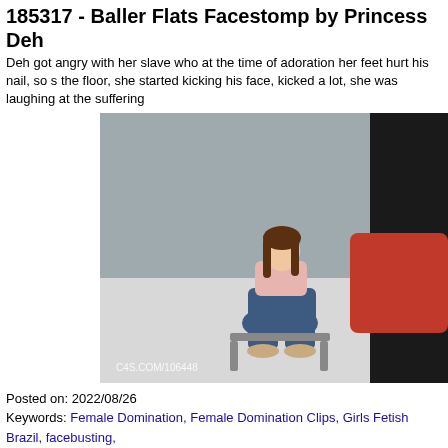185317 - Baller Flats Facestomp by Princess Deh
Deh got angry with her slave who at the time of adoration her feet hurt his nail, so s the floor, she started kicking his face, kicked a lot, she was laughing at the suffering
[Figure (photo): Photo of a woman in jeans and pink top seated on the floor, with another person partially visible. Watermark: C4S.COM/106448]
Posted on: 2022/08/26
Keywords: Female Domination, Female Domination Clips, Girls Fetish Brazil, facebusting,
159193 - MISTRESS GAIA - FUN CUBED - HD
ITALIAN LANGUAGEI am in the company of two beautiful friends of mine and we h us the balls.We have tied him up and he is unable to defend himself, constrained to We start kicking and kneeling him in the balls, but shortly thereafter this slave starts pervert and must be punished for this too and therefore we increase the power ano We tease him as the hits get stronger, until he can't take it anymore and falls to his
[Figure (photo): Two side-by-side photos: left shows a person in bondage gear in a dark room; right shows 'FUN CUBED' text in yellow/red on black background]